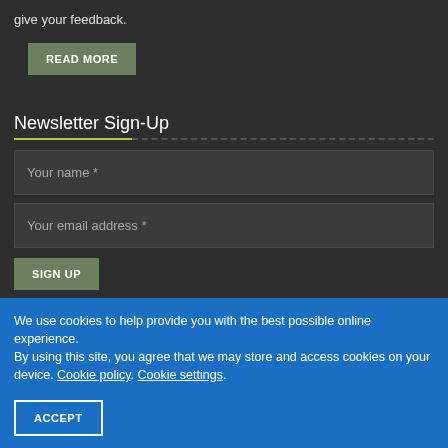give your feedback.
READ MORE
Newsletter Sign-Up
Your name *
Your email address *
SIGN UP
We use cookies to help provide you with the best possible online experience. By using this site, you agree that we may store and access cookies on your device. Cookie policy. Cookie settings.
ACCEPT
Privacy Use · Cookies · Medical Disclaimer · Accessibility
© Tree View Designs Ltd 2022
NHS